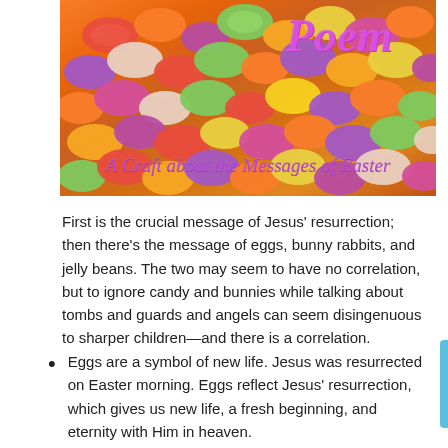[Figure (photo): Banner image of colorful jelly beans with decorative text overlay. Shows 'Poem' in purple italic script at top right, and 'A Craft about the Messages of Easter' in purple italic script at bottom.]
Poem
A Craft about the Messages of Easter
First is the crucial message of Jesus' resurrection; then there's the message of eggs, bunny rabbits, and jelly beans. The two may seem to have no correlation, but to ignore candy and bunnies while talking about tombs and guards and angels can seem disingenuous to sharper children—and there is a correlation.
Eggs are a symbol of new life. Jesus was resurrected on Easter morning. Eggs reflect Jesus' resurrection, which gives us new life, a fresh beginning, and eternity with Him in heaven.
Jelly bean colors reflect the message of Easter: Red